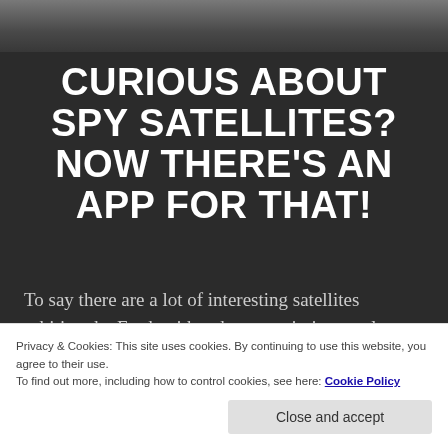[Figure (photo): Dark photo strip at top of page showing partial silhouette/machinery image]
CURIOUS ABOUT SPY SATELLITES? NOW THERE'S AN APP FOR THAT!
To say there are a lot of interesting satellites orbiting the Earth with unknown missions, at least unknown to the public, belonging either to the US or other
Privacy & Cookies: This site uses cookies. By continuing to use this website, you agree to their use.
To find out more, including how to control cookies, see here: Cookie Policy
Close and accept